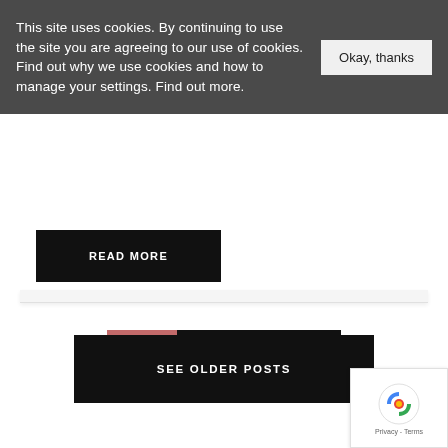This site uses cookies. By continuing to use the site you are agreeing to our use of cookies. Find out why we use cookies and how to manage your settings. Find out more.
Okay, thanks
READ MORE
1   2   Next
SEE OLDER POSTS
[Figure (other): reCAPTCHA widget with Privacy and Terms text]